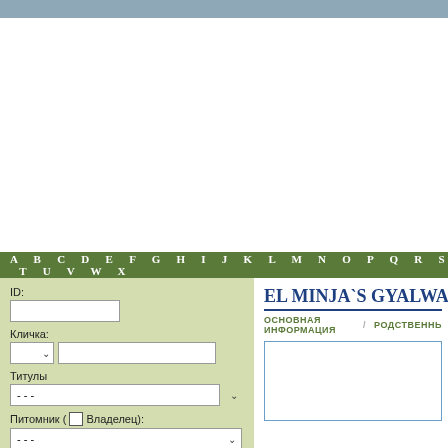A B C D E F G H I J K L M N O P Q R S T U V W X
ID:
Кличка:
Титулы
Питомник ( Владелец):
Окрас:
EL MINJA`S GYALWANG
ОСНОВНАЯ ИНФОРМАЦИЯ  /  РОДСТВЕННЬ